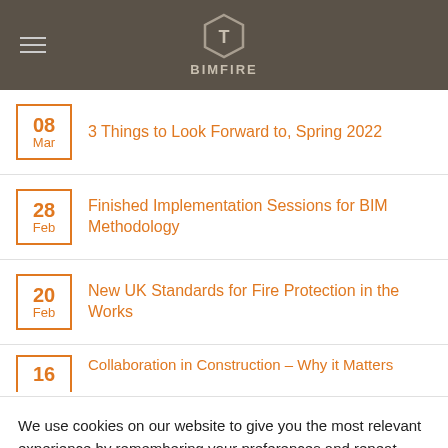BIMFIRE
3 Things to Look Forward to, Spring 2022
Finished Implementation Sessions for BIM Methodology
New UK Standards for Fire Protection in the Works
Collaboration in Construction – Why it Matters
We use cookies on our website to give you the most relevant experience by remembering your preferences and repeat visits. By clicking “Accept”, you consent to the use of ALL the cookies.